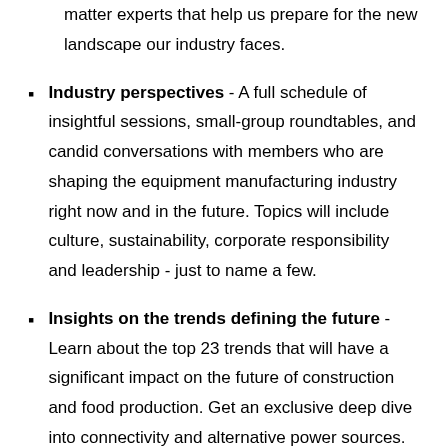matter experts that help us prepare for the new landscape our industry faces.
Industry perspectives - A full schedule of insightful sessions, small-group roundtables, and candid conversations with members who are shaping the equipment manufacturing industry right now and in the future. Topics will include culture, sustainability, corporate responsibility and leadership - just to name a few.
Insights on the trends defining the future - Learn about the top 23 trends that will have a significant impact on the future of construction and food production. Get an exclusive deep dive into connectivity and alternative power sources.